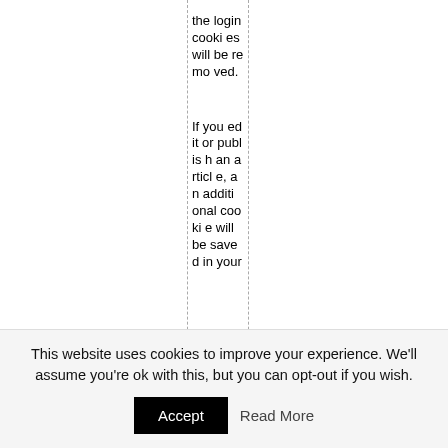the login cookies will be removed. If you edit or publish an article, an additional cookie will be saved in your
This website uses cookies to improve your experience. We'll assume you're ok with this, but you can opt-out if you wish.
Accept   Read More